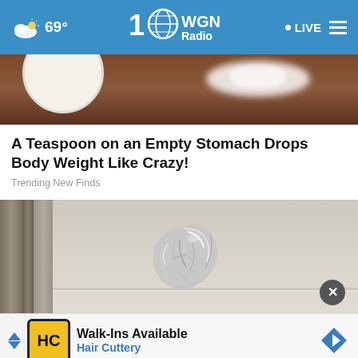WGN Radio 720 — 69° — LIVE
[Figure (photo): Top portion of a food/cooking photo showing a wooden surface with white powder and a partial plate, visible as an image strip at top of page]
A Teaspoon on an Empty Stomach Drops Body Weight Like Crazy!
Trending New Finds
[Figure (photo): A door knob wrapped in aluminum/tin foil, set against a tan/beige door with vertical door frame visible on left side. A close button (X) appears in bottom right corner.]
Walk-Ins Available
Hair Cuttery